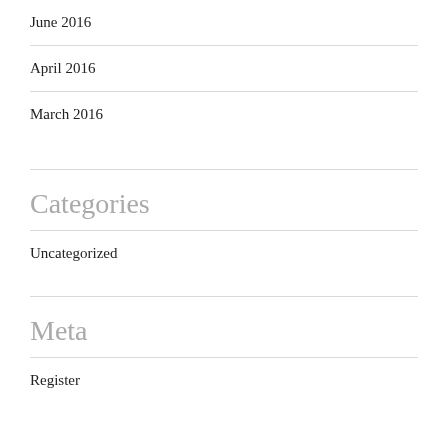June 2016
April 2016
March 2016
Categories
Uncategorized
Meta
Register